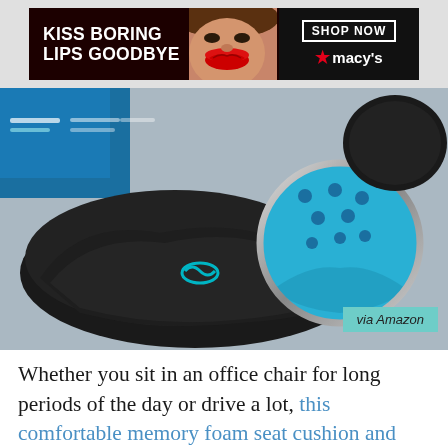[Figure (advertisement): Macy's ad banner: 'KISS BORING LIPS GOODBYE' with a woman's face with red lips, SHOP NOW button and Macy's star logo]
[Figure (photo): Product photo of a black memory foam seat cushion with a magnifying glass showing blue gel foam interior. Small product box visible in background. 'via Amazon' label in teal bottom right.]
Whether you sit in an office chair for long periods of the day or drive a lot, this comfortable memory foam seat cushion and lumbar pillow combo is a must-have. It molds to your body to support the